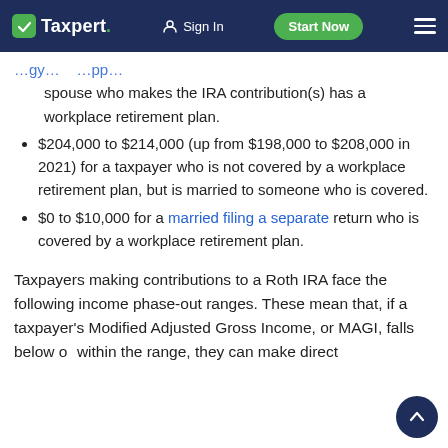Taxpert. | Sign In | Start Now
spouse who makes the IRA contribution(s) has a workplace retirement plan.
$204,000 to $214,000 (up from $198,000 to $208,000 in 2021) for a taxpayer who is not covered by a workplace retirement plan, but is married to someone who is covered.
$0 to $10,000 for a married filing a separate return who is covered by a workplace retirement plan.
Taxpayers making contributions to a Roth IRA face the following income phase-out ranges. These mean that, if a taxpayer's Modified Adjusted Gross Income, or MAGI, falls below or within the range, they can make direct